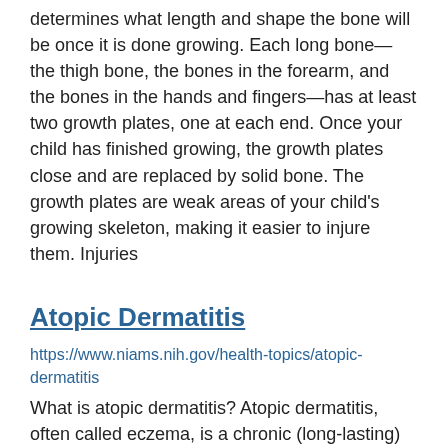determines what length and shape the bone will be once it is done growing. Each long bone— the thigh bone, the bones in the forearm, and the bones in the hands and fingers—has at least two growth plates, one at each end. Once your child has finished growing, the growth plates close and are replaced by solid bone. The growth plates are weak areas of your child's growing skeleton, making it easier to injure them. Injuries
Atopic Dermatitis
https://www.niams.nih.gov/health-topics/atopic-dermatitis
What is atopic dermatitis? Atopic dermatitis, often called eczema, is a chronic (long-lasting) disease that causes the skin to become inflamed and irritated, making it extremely itchy. Scratching leads to: Redness. Swelling. Cracking. "Weeping" clear fluid. Crusting. Scaling. In most cases, there are times when the disease is worse, called flares, followed by times when the skin improves or clears up entirely, called remissions. Atopic dermatitis is a common condition, and anyone can get the disease. However, it usually begins in childhood. Atopic dermatitis cannot be spread from person to person. No one knows what causes atopic dermatitis. Depending on
Ichthyosis
https://www.niams.nih.gov/health-topics/ichthyosis